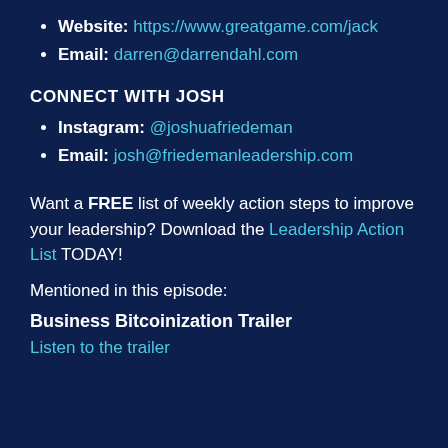Website: https://www.greatgame.com/jack
Email: darren@darrendahl.com
CONNECT WITH JOSH
Instagram: @joshuafriedeman
Email: josh@friedemanleadership.com
Want a FREE list of weekly action steps to improve your leadership? Download the Leadership Action List TODAY!
Mentioned in this episode:
Business Bitcoinization Trailer
Listen to the trailer